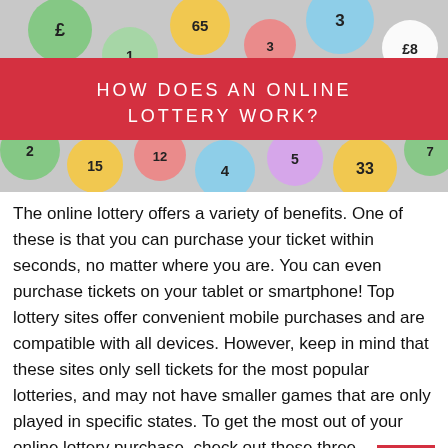[Figure (photo): Colorful lottery balls with numbers on them, filling the frame. A red banner overlay in the center reads 'HOW DOES AN ONLINE LOTTERY WORK?' in white capital letters.]
HOW DOES AN ONLINE LOTTERY WORK?
The online lottery offers a variety of benefits. One of these is that you can purchase your ticket within seconds, no matter where you are. You can even purchase tickets on your tablet or smartphone! Top lottery sites offer convenient mobile purchases and are compatible with all devices. However, keep in mind that these sites only sell tickets for the most popular lotteries, and may not have smaller games that are only played in specific states. To get the most out of your online lottery purchase, check out these three advantages: